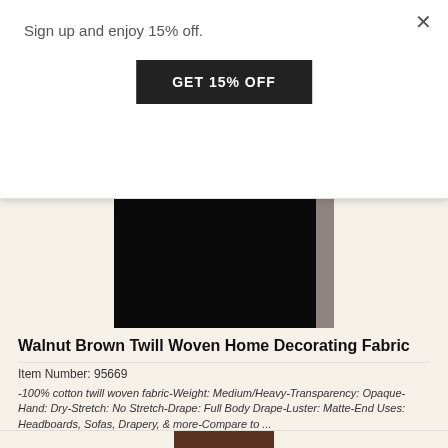Sign up and enjoy 15% off.
GET 15% OFF
[Figure (photo): Dark/black twill woven fabric swatch with a light-colored selvage edge on the right side]
Walnut Brown Twill Woven Home Decorating Fabric
Item Number: 95669
-100% cotton twill woven fabric-Weight: Medium/Heavy-Transparency: Opaque-Hand: Dry-Stretch: No Stretch-Drape: Full Body Drape-Luster: Matte-End Uses: Headboards, Sofas, Drapery, & more-Compare to ...
$11.95 / Yard